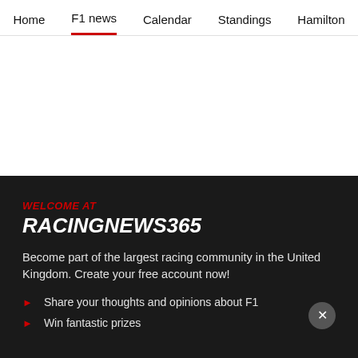Home  F1 news  Calendar  Standings  Hamilton
[Figure (other): White blank ad/content area below navigation]
WELCOME AT
RACINGNEWS365
Become part of the largest racing community in the United Kingdom. Create your free account now!
Share your thoughts and opinions about F1
Win fantastic prizes